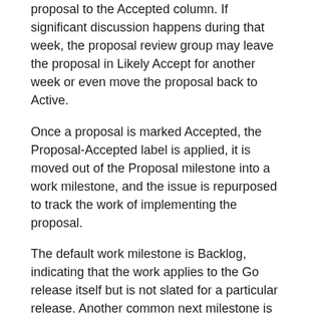proposal to the Accepted column. If significant discussion happens during that week, the proposal review group may leave the proposal in Likely Accept for another week or even move the proposal back to Active.
Once a proposal is marked Accepted, the Proposal-Accepted label is applied, it is moved out of the Proposal milestone into a work milestone, and the issue is repurposed to track the work of implementing the proposal.
The default work milestone is Backlog, indicating that the work applies to the Go release itself but is not slated for a particular release. Another common next milestone is Unreleased, used for work that is not part of any Go release (for example, work in parts of golang.org/x that are not vendored into the standard releases).
Declined
A week after a proposal moves to Likely Decline, absent a change in consensus, the proposal review group moves the proposal to the Declined column. If significant discussion